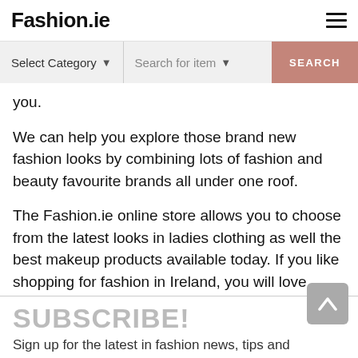Fashion.ie
you.
We can help you explore those brand new fashion looks by combining lots of fashion and beauty favourite brands all under one roof.
The Fashion.ie online store allows you to choose from the latest looks in ladies clothing as well the best makeup products available today. If you like shopping for fashion in Ireland, you will love Fashion.ie.
SUBSCRIBE!
Sign up for the latest in fashion news, tips and